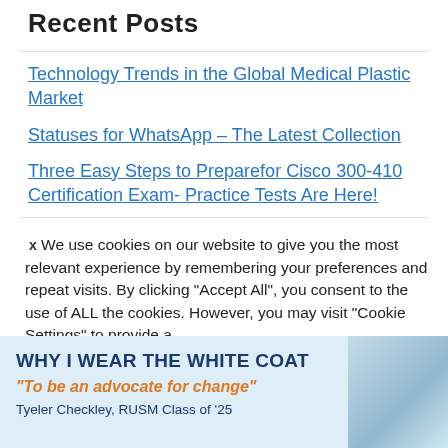Recent Posts
Technology Trends in the Global Medical Plastic Market
Statuses for WhatsApp – The Latest Collection
Three Easy Steps to Preparefor Cisco 300-410 Certification Exam- Practice Tests Are Here!
We use cookies on our website to give you the most relevant experience by remembering your preferences and repeat visits. By clicking "Accept All", you consent to the use of ALL the cookies. However, you may visit "Cookie Settings" to provide a
[Figure (infographic): WHY I WEAR THE WHITE COAT banner. Text reads: 'WHY I WEAR THE WHITE COAT' in dark blue bold uppercase, then '"To be an advocate for change"' in orange italic, then 'Tyeler Checkley, RUSM Class of '25' with a photo of a person on the right.]